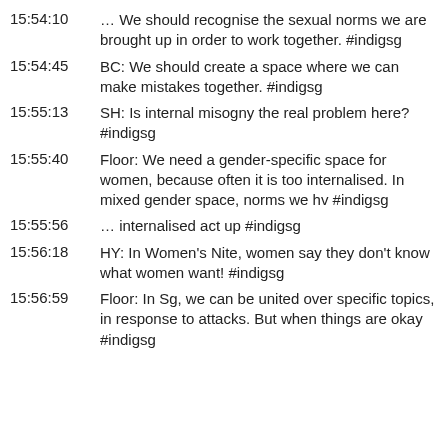15:54:10 … We should recognise the sexual norms we are brought up in order to work together. #indigsg
15:54:45 BC: We should create a space where we can make mistakes together. #indigsg
15:55:13 SH: Is internal misogny the real problem here? #indigsg
15:55:40 Floor: We need a gender-specific space for women, because often it is too internalised. In mixed gender space, norms we hv #indigsg
15:55:56 … internalised act up #indigsg
15:56:18 HY: In Women's Nite, women say they don't know what women want! #indigsg
15:56:59 Floor: In Sg, we can be united over specific topics, in response to attacks. But when things are okay #indigsg